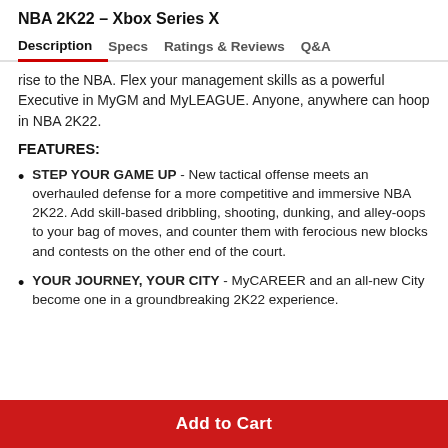NBA 2K22 – Xbox Series X
Description | Specs | Ratings & Reviews | Q&A
rise to the NBA. Flex your management skills as a powerful Executive in MyGM and MyLEAGUE. Anyone, anywhere can hoop in NBA 2K22.
FEATURES:
STEP YOUR GAME UP - New tactical offense meets an overhauled defense for a more competitive and immersive NBA 2K22. Add skill-based dribbling, shooting, dunking, and alley-oops to your bag of moves, and counter them with ferocious new blocks and contests on the other end of the court.
YOUR JOURNEY, YOUR CITY - MyCAREER and an all-new City become one in a groundbreaking 2K22 experience.